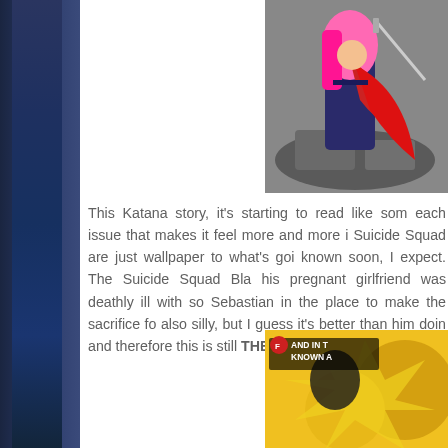[Figure (illustration): Comic book illustration showing a character with pink and red hair in action, top-right corner]
This Katana story, it's starting to read like som each issue that makes it feel more and more i Suicide Squad are just wallpaper to what's goi known soon, I expect. The Suicide Squad Bla his pregnant girlfriend was deathly ill with so Sebastian in the place to make the sacrifice fo also silly, but I guess it's better than him doin and therefore this is still THE BEST VALUE ON
[Figure (illustration): Comic book illustration bottom-right showing yellow/green scene with text 'AND IN T KNOWN A']